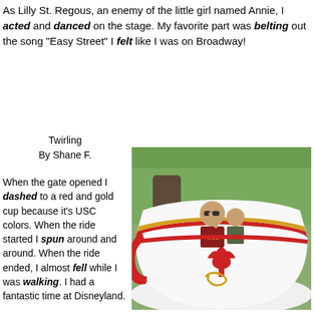As Lilly St. Regous, an enemy of the little girl named Annie, I acted and danced on the stage. My favorite part was belting out the song "Easy Street" I felt like I was on Broadway!
Twirling
By Shane F.
When the gate opened I dashed to a red and gold cup because it's USC colors. When the ride started I spun around and around. When the ride ended, I almost fell while I was walking. I had a fantastic time at Disneyland.
[Figure (photo): A man wearing a USC shirt and sunglasses sitting in a large red and white teacup ride at Disneyland with a young boy. There are trees and other park visitors visible in the background.]